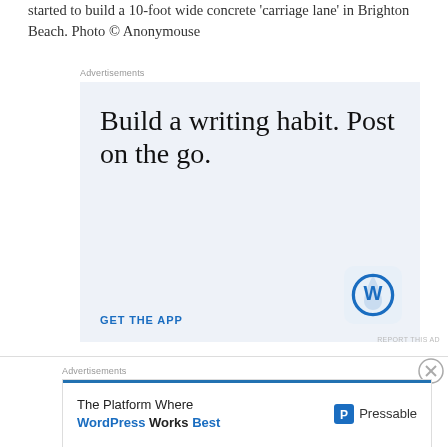started to build a 10-foot wide concrete ‘carriage lane’ in Brighton Beach. Photo © Anonymouse
[Figure (screenshot): WordPress advertisement: 'Build a writing habit. Post on the go.' with GET THE APP call to action and WordPress logo icon]
[Figure (screenshot): Pressable advertisement: 'The Platform Where WordPress Works Best' with Pressable logo]